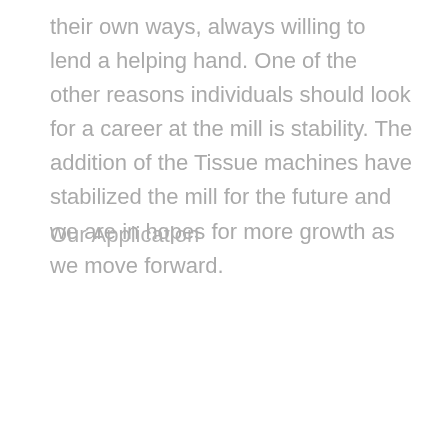their own ways, always willing to lend a helping hand. One of the other reasons individuals should look for a career at the mill is stability. The addition of the Tissue machines have stabilized the mill for the future and we are in hopes for more growth as we move forward.
Our Application